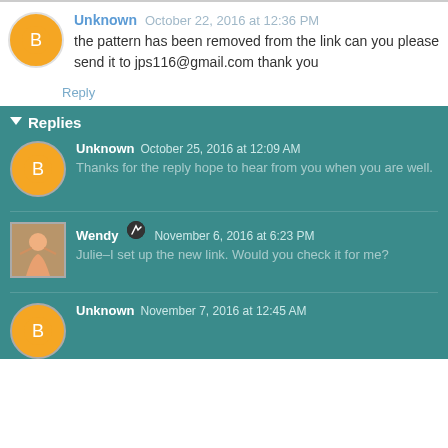Unknown October 22, 2016 at 12:36 PM
the pattern has been removed from the link can you please send it to jps116@gmail.com thank you
Reply
Replies
Unknown October 25, 2016 at 12:09 AM
Thanks for the reply hope to hear from you when you are well.
Wendy November 6, 2016 at 6:23 PM
Julie–I set up the new link. Would you check it for me?
Unknown November 7, 2016 at 12:45 AM